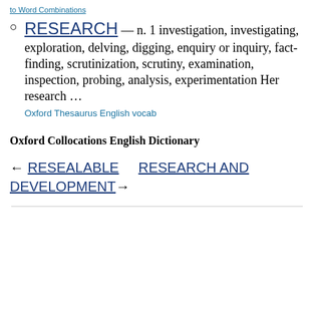to Word Combinations
RESEARCH — n. 1 investigation, investigating, exploration, delving, digging, enquiry or inquiry, fact-finding, scrutinization, scrutiny, examination, inspection, probing, analysis, experimentation Her research …
Oxford Thesaurus English vocab
Oxford Collocations English Dictionary
← RESEALABLE    RESEARCH AND DEVELOPMENT →